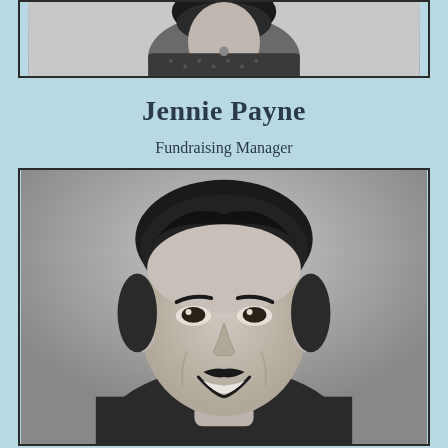[Figure (photo): Black and white portrait photo of a woman (Jennie Payne), partially visible at top of page, cropped]
Jennie Payne
Fundraising Manager
[Figure (photo): Black and white portrait photo of a smiling man with dark hair and a mustache, wearing a dark jacket]